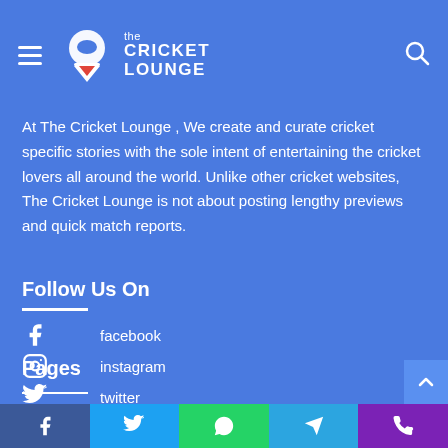The Cricket Lounge
At The Cricket Lounge, We create and curate cricket specific stories with the sole intent of entertaining the cricket lovers all around the world. Unlike other cricket websites, The Cricket Lounge is not about posting lengthy previews and quick match reports.
Follow Us On
facebook
instagram
twitter
youtube
Pages